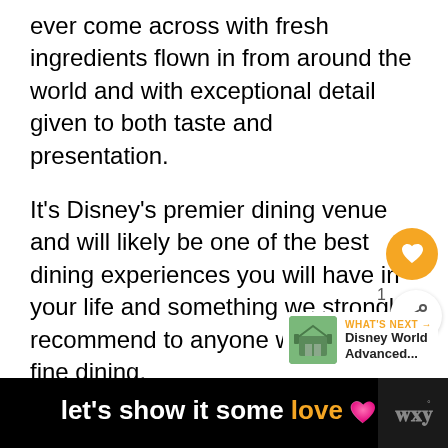ever come across with fresh ingredients flown in from around the world and with exceptional detail given to both taste and presentation.
It's Disney's premier dining venue and will likely be one of the best dining experiences you will have in your life and something we strongly recommend to anyone who enjoys fine dining.
[Figure (infographic): Orange circle with white heart icon (like/favorite button) floating on right side]
[Figure (infographic): White circle share button with share icon and count of 1, floating on right side]
[Figure (infographic): What's Next widget showing a thumbnail image of a green restaurant exterior and text 'WHAT'S NEXT → Disney World Advanced...']
[Figure (infographic): Black advertisement banner at bottom reading 'let's show it some love' with pink heart icon and orange 'love' text, with a logo on the right]